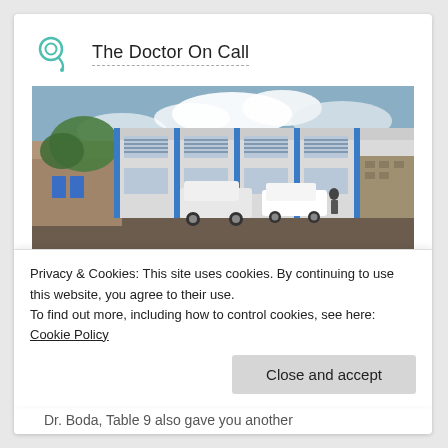The Doctor On Call
[Figure (photo): Exterior photo of Human anatomy laboratory building at UoN (University of Nairobi). A two-story building with blue and white facade, louvered windows, parked white vehicles in front, trees visible on the left, under a cloudy sky.]
Human anatomy laboratory, UoN. Photo credits: Internet.
Privacy & Cookies: This site uses cookies. By continuing to use this website, you agree to their use.
To find out more, including how to control cookies, see here: Cookie Policy
Dr. Boda, Table 9 also gave you another